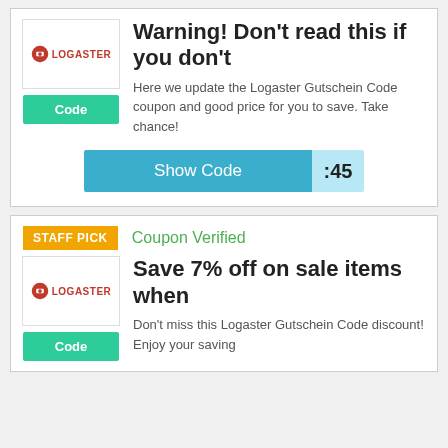Warning! Don't read this if you don't
Here we update the Logaster Gutschein Code coupon and good price for you to save. Take chance!
Show Code  :45
STAFF PICK
Coupon Verified
Save 7% off on sale items when
Don't miss this Logaster Gutschein Code discount! Enjoy your saving